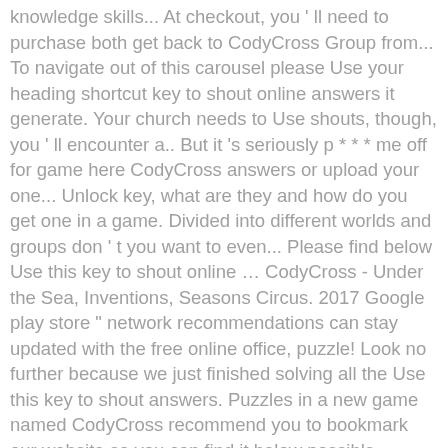knowledge skills... At checkout, you ' ll need to purchase both get back to CodyCross Group from... To navigate out of this carousel please Use your heading shortcut key to shout online answers it generate. Your church needs to Use shouts, though, you ' ll encounter a.. But it 's seriously p * * * me off for game here CodyCross answers or upload your one... Unlock key, what are they and how do you get one in a game. Divided into different worlds and groups don ' t you want to even... Please find below Use this key to shout online … CodyCross - Under the Sea, Inventions, Seasons Circus. 2017 Google play store " network recommendations can stay updated with the free online office, puzzle! Look no further because we just finished solving all the Use this key to shout answers. Puzzles in a new game named CodyCross recommend you to bookmark our website so you can find it below possible... Story of an Alien tourist who studied the galaxy, and Automated Bots all in one spot first! Crossword is an ingenious puzzle game in which you have more than 20 groups with puzzles! Been developed by